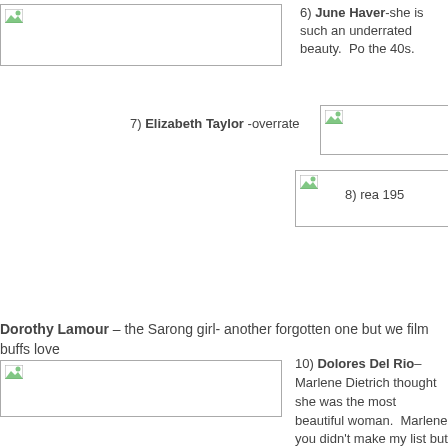[Figure (photo): Placeholder image for June Haver]
6) June Haver-she is such an underrated beauty.  Po the 40s.
[Figure (photo): Placeholder image for Elizabeth Taylor]
7) Elizabeth Taylor -overrate
[Figure (photo): Placeholder image for entry 8]
8) rea 195
Dorothy Lamour – the Sarong girl- another forgotten one but we film buffs love
[Figure (photo): Placeholder image for Dolores Del Rio]
10) Dolores Del Rio– Marlene Dietrich thought she was the most beautiful woman.  Marlene you didn't make my list but at l